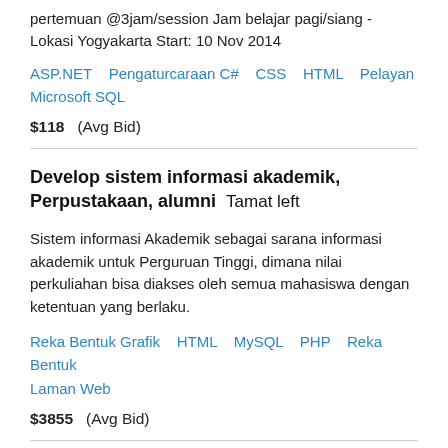pertemuan @3jam/session Jam belajar pagi/siang - Lokasi Yogyakarta Start: 10 Nov 2014
ASP.NET   Pengaturcaraan C#   CSS   HTML   Pelayan Microsoft SQL
$118  (Avg Bid)
Develop sistem informasi akademik, Perpustakaan, alumni  Tamat left
Sistem informasi Akademik sebagai sarana informasi akademik untuk Perguruan Tinggi, dimana nilai perkuliahan bisa diakses oleh semua mahasiswa dengan ketentuan yang berlaku.
Reka Bentuk Grafik   HTML   MySQL   PHP   Reka Bentuk Laman Web
$3855  (Avg Bid)